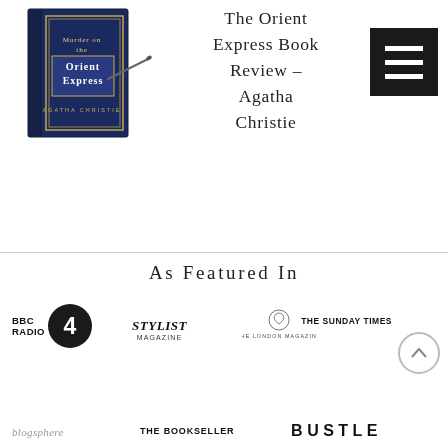[Figure (photo): Book cover of Murder on the Orient Express by Agatha Christie, navy blue with ornate border]
The Orient Express Book Review – Agatha Christie
[Figure (illustration): Black hamburger menu button icon]
As Featured In
[Figure (logo): BBC Radio 4 logo]
[Figure (logo): Stylist Magazine logo]
[Figure (logo): The London Magazine logo]
[Figure (logo): The Sunday Times logo]
[Figure (logo): Blogosphere logo]
[Figure (logo): The Bookseller logo]
[Figure (logo): Bustle logo]